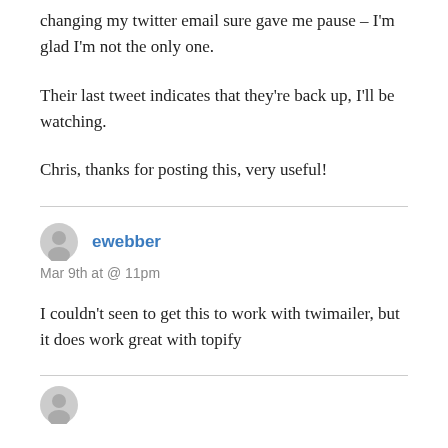changing my twitter email sure gave me pause – I'm glad I'm not the only one.
Their last tweet indicates that they're back up, I'll be watching.
Chris, thanks for posting this, very useful!
ewebber
Mar 9th at @ 11pm
I couldn't seen to get this to work with twimailer, but it does work great with topify